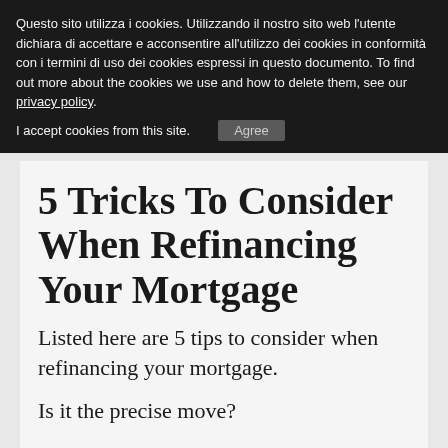Questo sito utilizza i cookies. Utilizzando il nostro sito web l'utente dichiara di accettare e acconsentire all'utilizzo dei cookies in conformità con i termini di uso dei cookies espressi in questo documento. To find out more about the cookies we use and how to delete them, see our privacy policy.
I accept cookies from this site.   Agree
5 Tricks To Consider When Refinancing Your Mortgage
Listed here are 5 tips to consider when refinancing your mortgage.
Is it the precise move?